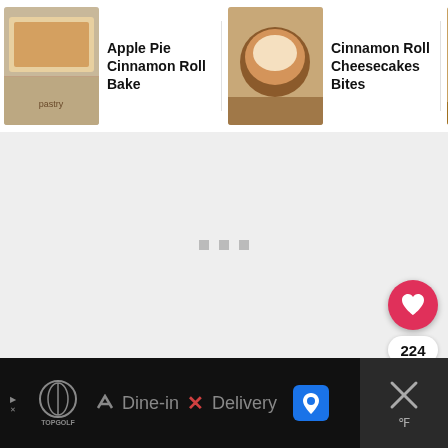[Figure (screenshot): Horizontal scrollable carousel showing recipe thumbnails: 'Apple Pie Cinnamon Roll Bake', 'Cinnamon Roll Cheesecakes Bites', 'Cinnamon Pancakes' with a right-arrow indicating more items.]
[Figure (screenshot): Main content area with light gray background and three small gray square loading dots in the center.]
224
[Figure (screenshot): Bottom advertisement bar: Topgolf logo, checkmark icon, 'Dine-in', X icon, 'Delivery', blue map pin icon, and a close button with X on dark background.]